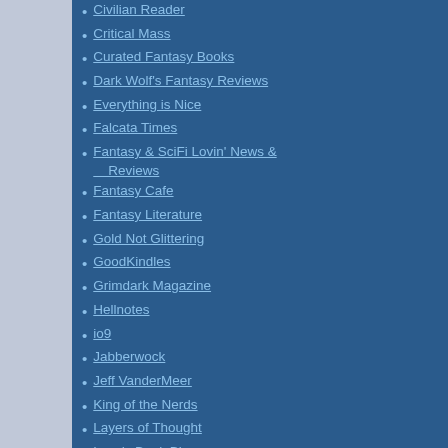Civilian Reader
Critical Mass
Curated Fantasy Books
Dark Wolf's Fantasy Reviews
Everything is Nice
Falcata Times
Fantasy & SciFi Lovin' News & Reviews
Fantasy Cafe
Fantasy Literature
Gold Not Glittering
GoodKindles
Grimdark Magazine
Hellnotes
io9
Jabberwock
Jeff VanderMeer
King of the Nerds
Layers of Thought
Lynn's Book Blog
Neth Space
Novel Notions
Omnivoracious
Only The Best Science Fiction & Fantasy
Pat's Fantasy Hotlist
From Adrian Tchaikovsky, of latest -9th - installment well as to our interview w and Famine" which contai ending with what also bu